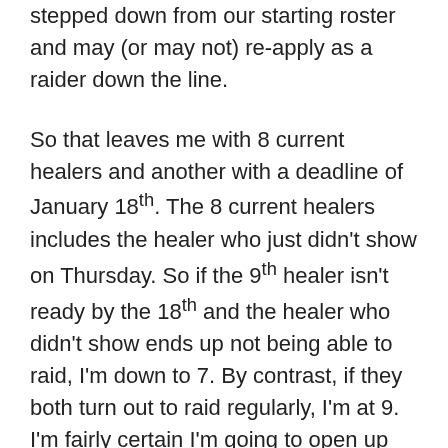stepped down from our starting roster and may (or may not) re-apply as a raider down the line.
So that leaves me with 8 current healers and another with a deadline of January 18th. The 8 current healers includes the healer who just didn't show on Thursday. So if the 9th healer isn't ready by the 18th and the healer who didn't show ends up not being able to raid, I'm down to 7. By contrast, if they both turn out to raid regularly, I'm at 9. I'm fairly certain I'm going to open up recruitment for another healer (probably a resto shaman), but we're not at that point yet.
Anyways. This is where my brain goes at 6:30am, when I should have been asleep ages ago.
So far, a good raid week. We have another raid